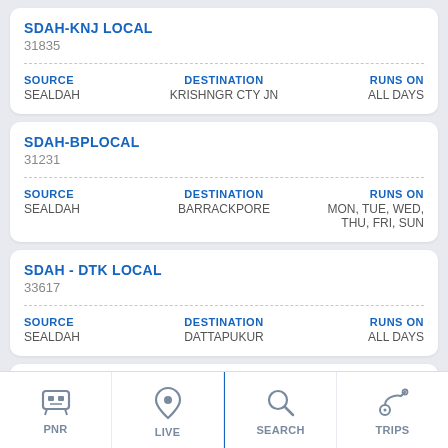SDAH-KNJ LOCAL
31835
| SOURCE | DESTINATION | RUNS ON |
| --- | --- | --- |
| SEALDAH | KRISHNGR CTY JN | ALL DAYS |
SDAH-BPLOCAL
31231
| SOURCE | DESTINATION | RUNS ON |
| --- | --- | --- |
| SEALDAH | BARRACKPORE | MON, TUE, WED, THU, FRI, SUN |
SDAH - DTK LOCAL
33617
| SOURCE | DESTINATION | RUNS ON |
| --- | --- | --- |
| SEALDAH | DATTAPUKUR | ALL DAYS |
SDAH - NH LOCAL
3142...
PNR | LIVE | SEARCH | TRIPS